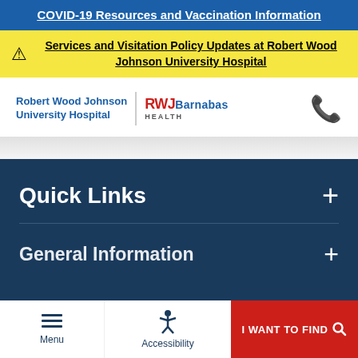COVID-19 Resources and Vaccination Information
Services and Visitation Policy Updates at Robert Wood Johnson University Hospital
[Figure (logo): Robert Wood Johnson University Hospital and RWJBarnabas Health logos with phone icon]
Quick Links
General Information
Menu
Accessibility
I WANT TO FIND